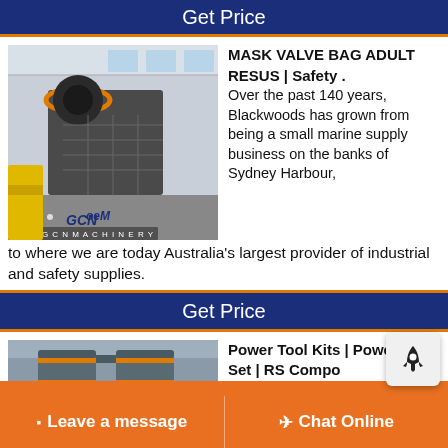Get Price
[Figure (photo): Industrial jaw crusher machine in a factory setting, branded GCN Machinery with OEM logo]
MASK VALVE BAG ADULT RESUS | Safety . Over the past 140 years, Blackwoods has grown from being a small marine supply business on the banks of Sydney Harbour, to where we are today Australia's largest provider of industrial and safety supplies.
Get Price
[Figure (photo): Industrial grinding mill with cylindrical grey metal tanks strapped with red bands in a factory]
Power Tool Kits | Power Tool Set | RS Compo
Power tool kits are manufactured from some of
Leave a message   Chat Online